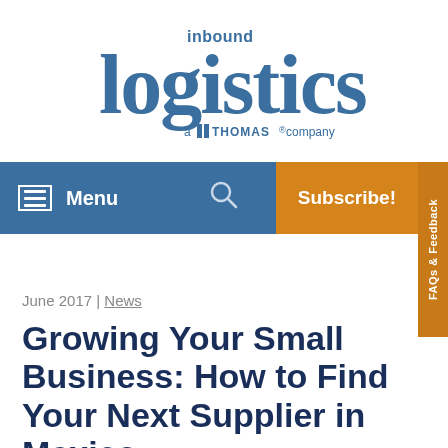[Figure (logo): Inbound Logistics logo — 'inbound logistics a Thomas company' in blue typography]
Menu | Subscribe! | FAQs & Feedback
June 2017 | News
Growing Your Small Business: How to Find Your Next Supplier in Mexico